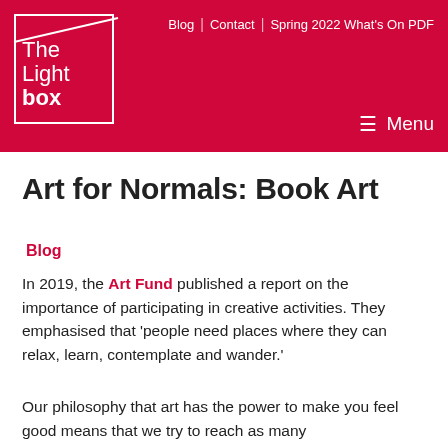The Lightbox | Blog | Contact | Spring 2022 What's On PDF | Menu
Art for Normals: Book Art
Blog
In 2019, the Art Fund published a report on the importance of participating in creative activities. They emphasised that 'people need places where they can relax, learn, contemplate and wander.'
Our philosophy that art has the power to make you feel good means that we try to reach as many